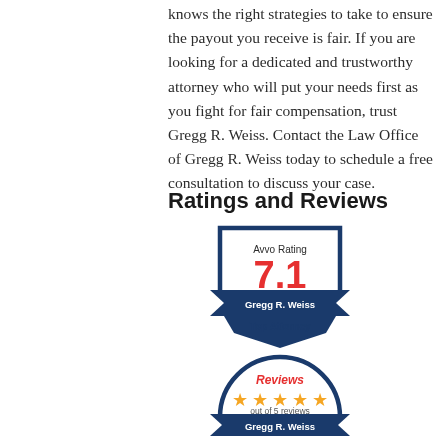knows the right strategies to take to ensure the payout you receive is fair. If you are looking for a dedicated and trustworthy attorney who will put your needs first as you fight for fair compensation, trust Gregg R. Weiss. Contact the Law Office of Gregg R. Weiss today to schedule a free consultation to discuss your case.
Ratings and Reviews
[Figure (logo): Avvo Rating badge showing 7.1 rating for Gregg R. Weiss, Top Attorney, navy blue shield shape with red rating number]
[Figure (logo): Reviews badge showing 5 orange stars, out of 5 reviews, Gregg R. Weiss, navy blue semicircle with ribbon banner]